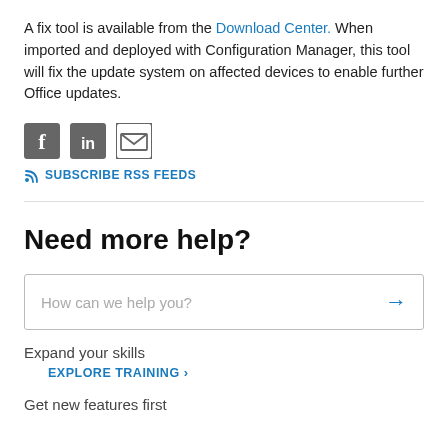A fix tool is available from the Download Center. When imported and deployed with Configuration Manager, this tool will fix the update system on affected devices to enable further Office updates.
[Figure (other): Social sharing icons: Facebook, LinkedIn, and Email envelope icons]
SUBSCRIBE RSS FEEDS
Need more help?
How can we help you? [search box with arrow]
Expand your skills
EXPLORE TRAINING >
Get new features first